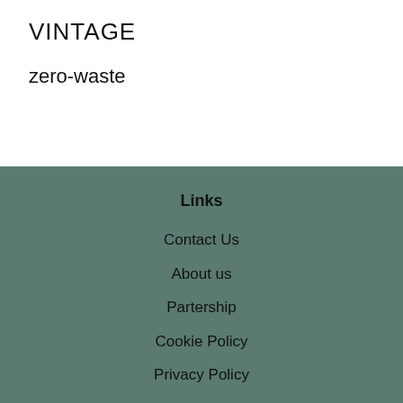VINTAGE
zero-waste
Links
Contact Us
About us
Partership
Cookie Policy
Privacy Policy
Shipping and Return Policy
Terms and Conditions